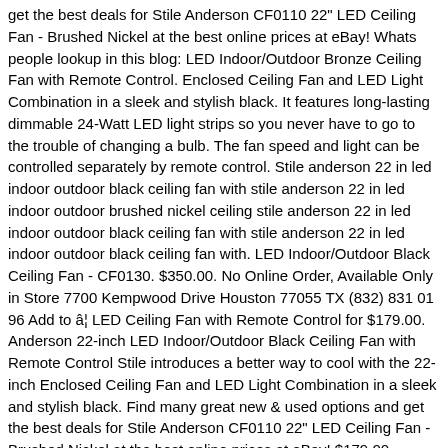get the best deals for Stile Anderson CF0110 22" LED Ceiling Fan - Brushed Nickel at the best online prices at eBay! Whats people lookup in this blog: LED Indoor/Outdoor Bronze Ceiling Fan with Remote Control. Enclosed Ceiling Fan and LED Light Combination in a sleek and stylish black. It features long-lasting dimmable 24-Watt LED light strips so you never have to go to the trouble of changing a bulb. The fan speed and light can be controlled separately by remote control. Stile anderson 22 in led indoor outdoor black ceiling fan with stile anderson 22 in led indoor outdoor brushed nickel ceiling stile anderson 22 in led indoor outdoor black ceiling fan with stile anderson 22 in led indoor outdoor black ceiling fan with. LED Indoor/Outdoor Black Ceiling Fan - CF0130. $350.00. No Online Order, Available Only in Store 7700 Kempwood Drive Houston 77055 TX (832) 831 01 96 Add to â¦ LED Ceiling Fan with Remote Control for $179.00. Anderson 22-inch LED Indoor/Outdoor Black Ceiling Fan with Remote Control Stile introduces a better way to cool with the 22-inch Enclosed Ceiling Fan and LED Light Combination in a sleek and stylish black. Find many great new & used options and get the best deals for Stile Anderson CF0110 22" LED Ceiling Fan - Brushed Nickel at the best online prices at eBay! $179.00 $219.00 Shop now. US Seller. 10K likes. Get $5 off when you sign up for emails with savings and tips. LED Indoor/Outdoor Brushed Nickel Ceiling Fan - CF0130. Satellite Electronic. Stile Anderson 22 in. Stile Products. Bodega Liquidation. item 1 Stile Anderson 22 in. Stile Anderson 22 in. Enclosed Ceiling Fan and LED Light Combination in modern brushed nickel. item 2 Stile Anderson 22 in. Stile enclosed ceiling fan and light combination. Stile Anderson 22 In Led Indoor Outdoor Brushed Nickel Ceiling. LED Indoor/Outdoor Brushed Nickel Ceiling Fan / Remote Co... Stile